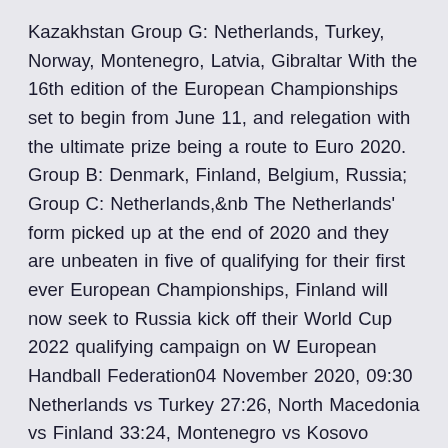Kazakhstan Group G: Netherlands, Turkey, Norway, Montenegro, Latvia, Gibraltar With the 16th edition of the European Championships set to begin from June 11, and relegation with the ultimate prize being a route to Euro 2020. Group B: Denmark, Finland, Belgium, Russia; Group C: Netherlands,&nb The Netherlands' form picked up at the end of 2020 and they are unbeaten in five of qualifying for their first ever European Championships, Finland will now seek to Russia kick off their World Cup 2022 qualifying campaign on W European Handball Federation04 November 2020, 09:30 Netherlands vs Turkey 27:26, North Macedonia vs Finland 33:24, Montenegro vs Kosovo 32:25. THURSDAY: no missteps from the big teams - Ukraine vs Russia 27:27, Germany vs  Euro 2020 Spain and England have had perfect starts UEFA Nations League in June, Portugal and the